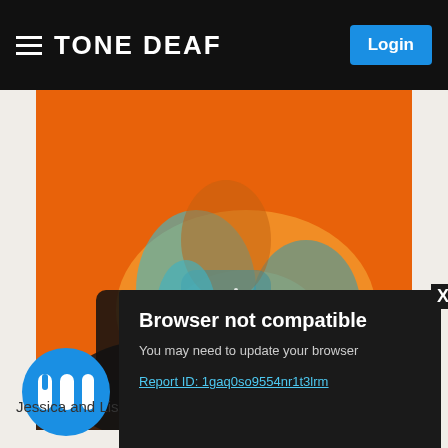TONE DEAF
[Figure (photo): Fashion editorial photo: person in sparkly outfit posing against orange background]
[Figure (logo): Tone Deaf circular logo in blue]
Jessica and Lisa C
Browser not compatible
You may need to update your browser
Report ID: 1gaq0so9554nr1t3lrm